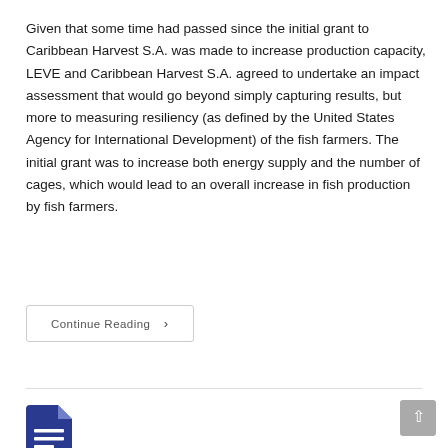Given that some time had passed since the initial grant to Caribbean Harvest S.A. was made to increase production capacity, LEVE and Caribbean Harvest S.A. agreed to undertake an impact assessment that would go beyond simply capturing results, but more to measuring resiliency (as defined by the United States Agency for International Development) of the fish farmers. The initial grant was to increase both energy supply and the number of cages, which would lead to an overall increase in fish production by fish farmers.
Continue Reading ›
[Figure (illustration): Document icon — dark blue rectangle with folded top-right corner and three horizontal white lines representing text]